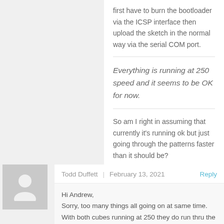first have to burn the bootloader via the ICSP interface then upload the sketch in the normal way via the serial COM port.
Everything is running at 250 speed and it seems to be OK for now.
So am I right in assuming that currently it's running ok but just going through the patterns faster than it should be?
Todd Duffett | February 13, 2021 Reply
Hi Andrew,
Sorry, too many things all going on at same time. With both cubes running at 250 they do run thru the sketch at same speed (it is a beautiful thing to